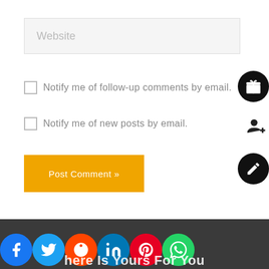Website
Notify me of follow-up comments by email.
Notify me of new posts by email.
Post Comment »
[Figure (illustration): Dark footer area with social media icons: Facebook (blue), Twitter (light blue), Reddit (orange), LinkedIn (dark blue), Pinterest (red), WhatsApp (green), and partial footer text reading 'here Is Yours For You']
here Is Yours For You